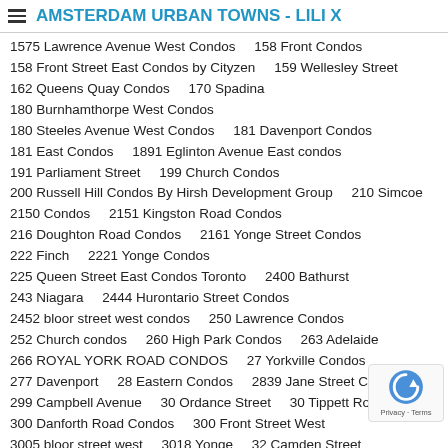AMSTERDAM URBAN TOWNS - LILI X
1575 Lawrence Avenue West Condos    158 Front Condos
158 Front Street East Condos by Cityzen    159 Wellesley Street
162 Queens Quay Condos    170 Spadina
180 Burnhamthorpe West Condos
180 Steeles Avenue West Condos    181 Davenport Condos
181 East Condos    1891 Eglinton Avenue East condos
191 Parliament Street    199 Church Condos
200 Russell Hill Condos By Hirsh Development Group    210 Simcoe
2150 Condos    2151 Kingston Road Condos
216 Doughton Road Condos    2161 Yonge Street Condos
222 Finch    2221 Yonge Condos
225 Queen Street East Condos Toronto    2400 Bathurst
243 Niagara    2444 Hurontario Street Condos
2452 bloor street west condos    250 Lawrence Condos
252 Church condos    260 High Park Condos    263 Adelaide
266 ROYAL YORK ROAD CONDOS    27 Yorkville Condos
277 Davenport    28 Eastern Condos    2839 Jane Street Condos
299 Campbell Avenue    30 Ordance Street    30 Tippett Road
300 Danforth Road Condos    300 Front Street West
3005 bloor street west    3018 Yonge    32 Camden Street
32 Raglan Avenue Condos    3201 Highway 7 W Condos
321 Davenport Condos    33 Bay at Pinnacle Centre